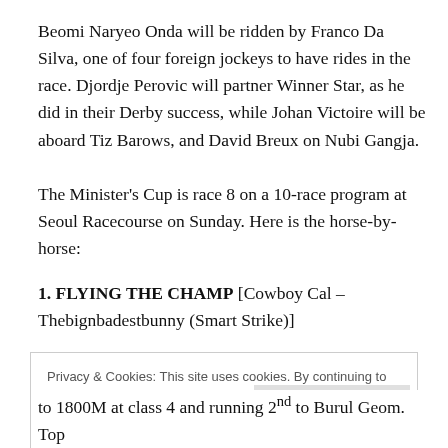Beomi Naryeo Onda will be ridden by Franco Da Silva, one of four foreign jockeys to have rides in the race. Djordje Perovic will partner Winner Star, as he did in their Derby success, while Johan Victoire will be aboard Tiz Barows, and David Breux on Nubi Gangja.
The Minister's Cup is race 8 on a 10-race program at Seoul Racecourse on Sunday. Here is the horse-by-horse:
1. FLYING THE CHAMP [Cowboy Cal – Thebignbadestbunny (Smart Strike)]
Privacy & Cookies: This site uses cookies. By continuing to use this website, you agree to their use.
To find out more, including how to control cookies, see here: Cookie Policy
to 1800M at class 4 and running 2nd to Burul Geom. Top